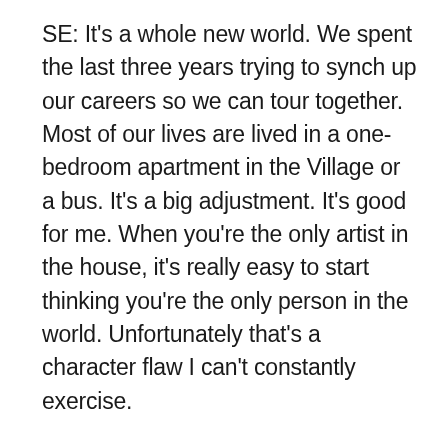SE: It's a whole new world. We spent the last three years trying to synch up our careers so we can tour together. Most of our lives are lived in a one-bedroom apartment in the Village or a bus. It's a big adjustment. It's good for me. When you're the only artist in the house, it's really easy to start thinking you're the only person in the world. Unfortunately that's a character flaw I can't constantly exercise.